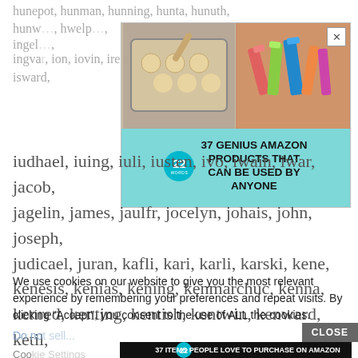hunepot, hunman, hunning, hunta, hunuth, hunw..., hwelp..., ingel..., ingva..., ion, iovin, ire, isaac, isembart, isward,
[Figure (infographic): Advertisement banner: 37 GENIUS AMAZON PRODUCTS THAT CAN BE USED BY ANYONE, with badge '22' and images of cookies on baking sheet and cosmetic products]
iudhael, iuing, iuli, iusten, ivo, iwain, iwar, jacob, jagelin, james, jaulfr, jocelyn, johais, john, joseph, judicael, juran, kafli, kari, karli, karski, kene, kenesis, kenias, kening, kenmarchuc, kenna, kenred, kenting, kentish, kentwin, kenward, ketil,
We use cookies on our website to give you the most relevant experience by remembering your preferences and repeat visits. By clicking “Accept”, you consent to the use of ALL the cookies.
Do no...
[Figure (infographic): Advertisement banner: 37 ITEMS PEOPLE LOVE TO PURCHASE ON AMAZON, with badge '22' and dark background showing kitchen knives and food items]
Coo...